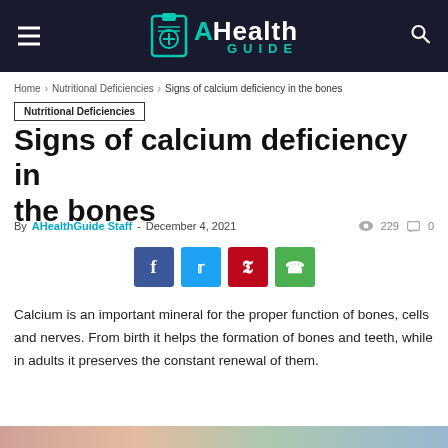AHealth Guide
Home > Nutritional Deficiencies > Signs of calcium deficiency in the bones
Nutritional Deficiencies
Signs of calcium deficiency in the bones
By AHealthGuide Staff - December 4, 2021  229  0
[Figure (other): Social share buttons: Facebook, Twitter, Pinterest, WhatsApp]
Calcium is an important mineral for the proper function of bones, cells and nerves. From birth it helps the formation of bones and teeth, while in adults it preserves the constant renewal of them.